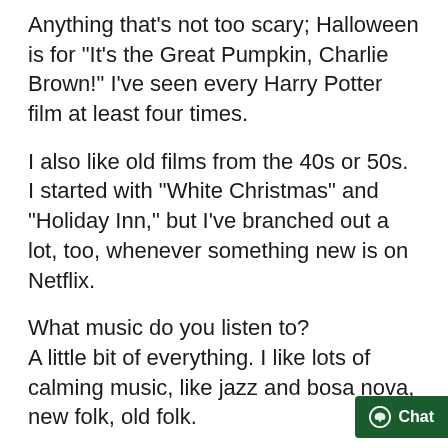Anything that's not too scary; Halloween is for "It's the Great Pumpkin, Charlie Brown!" I've seen every Harry Potter film at least four times.
I also like old films from the 40s or 50s. I started with "White Christmas" and "Holiday Inn," but I've branched out a lot, too, whenever something new is on Netflix.
What music do you listen to?
A little bit of everything. I like lots of calming music, like jazz and bosa nova, new folk, old folk.
Also funk and soul. One of my guilty pleasures is Michael Jackson. Big band jazz (which I love to dance to.) Musical theater. Classical, if there's nothing on the radio. Top 40, if the